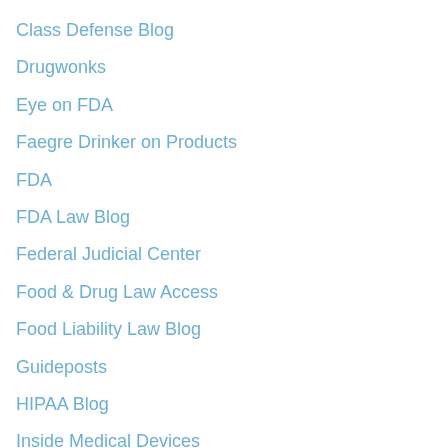Class Defense Blog
Drugwonks
Eye on FDA
Faegre Drinker on Products
FDA
FDA Law Blog
Federal Judicial Center
Food & Drug Law Access
Food Liability Law Blog
Guideposts
HIPAA Blog
Inside Medical Devices